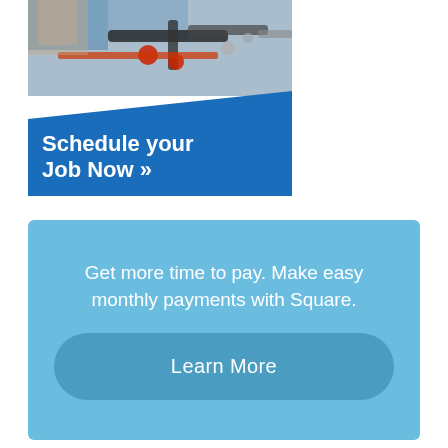[Figure (photo): Advertisement banner showing a plumber working on pipes, with a blue diagonal overlay section at the bottom containing white bold text 'Schedule your Job Now »']
Get more time to pay. Make easy monthly payments with Square.
Learn More